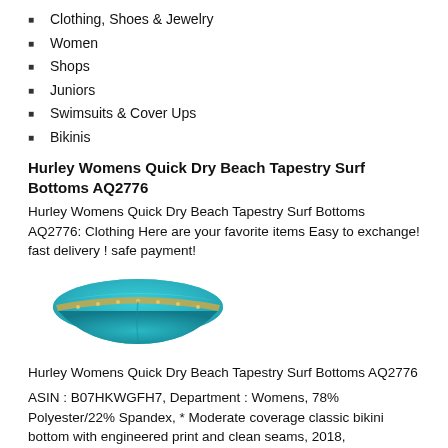Clothing, Shoes & Jewelry
Women
Shops
Juniors
Swimsuits & Cover Ups
Bikinis
Hurley Womens Quick Dry Beach Tapestry Surf Bottoms AQ2776
Hurley Womens Quick Dry Beach Tapestry Surf Bottoms AQ2776: Clothing Here are your favorite items Easy to exchange! fast delivery ! safe payment!
[Figure (photo): Product photo of turquoise/teal Hurley bikini bottoms with decorative trim]
Hurley Womens Quick Dry Beach Tapestry Surf Bottoms AQ2776
ASIN : B07HKWGFH7, Department : Womens, 78% Polyester/22% Spandex, * Moderate coverage classic bikini bottom with engineered print and clean seams, 2018, Manufacturer : Hurley, *, Icon heat